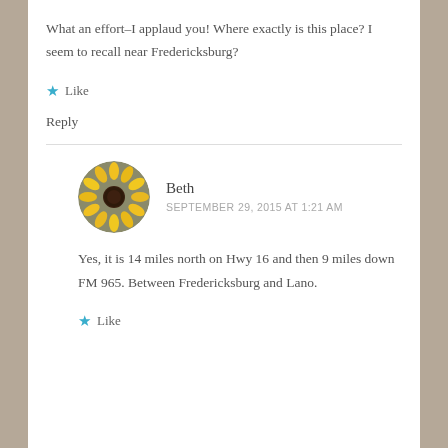What an effort–I applaud you! Where exactly is this place? I seem to recall near Fredericksburg?
★ Like
Reply
Beth
SEPTEMBER 29, 2015 AT 1:21 AM
Yes, it is 14 miles north on Hwy 16 and then 9 miles down FM 965. Between Fredericksburg and Lano.
★ Like